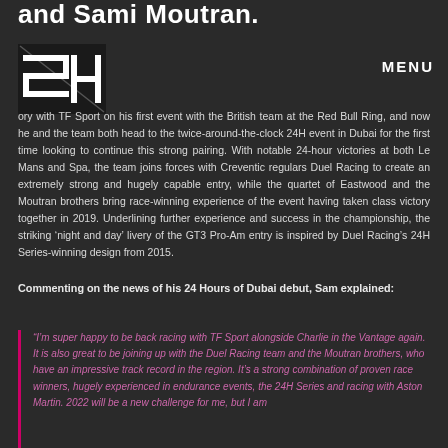and Sami Moutran.
[Figure (logo): SH logo — black and white geometric design with stylized S and H letters]
ory with TF Sport on his first event with the British team at the Red Bull Ring, and now he and the team both head to the twice-around-the-clock 24H event in Dubai for the first time looking to continue this strong pairing. With notable 24-hour victories at both Le Mans and Spa, the team joins forces with Creventic regulars Duel Racing to create an extremely strong and hugely capable entry, while the quartet of Eastwood and the Moutran brothers bring race-winning experience of the event having taken class victory together in 2019. Underlining further experience and success in the championship, the striking 'night and day' livery of the GT3 Pro-Am entry is inspired by Duel Racing's 24H Series-winning design from 2015.
Commenting on the news of his 24 Hours of Dubai debut, Sam explained:
“I’m super happy to be back racing with TF Sport alongside Charlie in the Vantage again. It is also great to be joining up with the Duel Racing team and the Moutran brothers, who have an impressive track record in the region. It’s a strong combination of proven race winners, hugely experienced in endurance events, the 24H Series and racing with Aston Martin. 2022 will be a new challenge for me, but I am